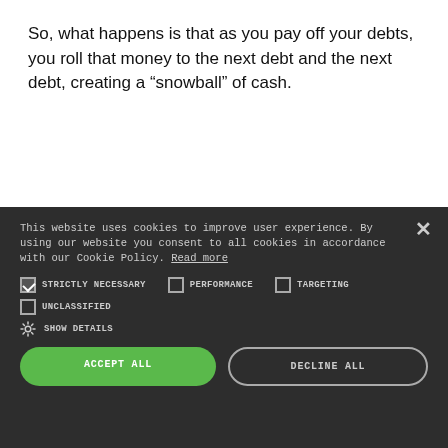So, what happens is that as you pay off your debts, you roll that money to the next debt and the next debt, creating a “snowball” of cash.
This website uses cookies to improve user experience. By using our website you consent to all cookies in accordance with our Cookie Policy. Read more
STRICTLY NECESSARY | PERFORMANCE | TARGETING | UNCLASSIFIED | SHOW DETAILS
ACCEPT ALL | DECLINE ALL